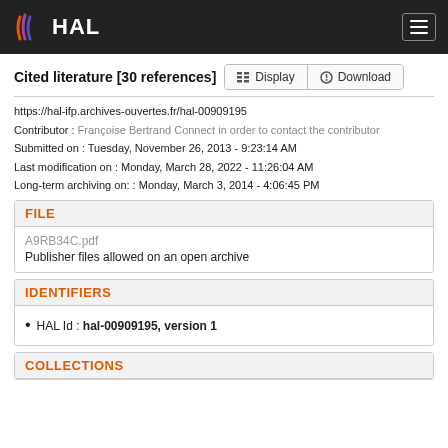HAL
Cited literature [30 references]
https://hal-ifp.archives-ouvertes.fr/hal-00909195
Contributor : Françoise Bertrand Connect in order to contact the contributor
Submitted on : Tuesday, November 26, 2013 - 9:23:14 AM
Last modification on : Monday, March 28, 2022 - 11:26:04 AM
Long-term archiving on: : Monday, March 3, 2014 - 4:06:45 PM
FILE
A9RB34C.pdf
Publisher files allowed on an open archive
IDENTIFIERS
HAL Id : hal-00909195, version 1
COLLECTIONS